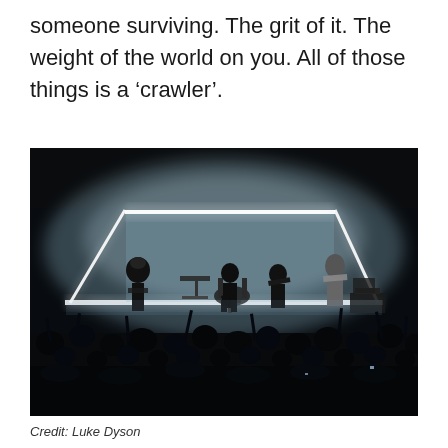someone surviving. The grit of it. The weight of the world on you. All of those things is a ‘crawler’.
[Figure (photo): Concert photo showing a band performing on a dramatic stage with bright white linear lights forming a rectangular frame overhead and atmospheric fog/haze, silhouetted crowd in the foreground, multiple band members visible including a guitarist on the right in white outfit and a singer center stage.]
Credit: Luke Dyson